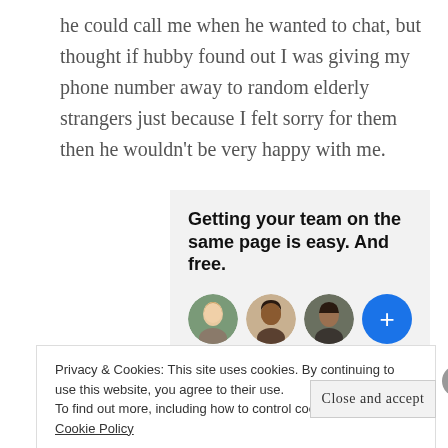he could call me when he wanted to chat, but thought if hubby found out I was giving my phone number away to random elderly strangers just because I felt sorry for them then he wouldn't be very happy with me.
[Figure (other): Advertisement box with headline 'Getting your team on the same page is easy. And free.' and a row of three circular profile photo avatars plus a blue plus-sign circle.]
Privacy & Cookies: This site uses cookies. By continuing to use this website, you agree to their use.
To find out more, including how to control cookies, see here: Cookie Policy
Close and accept